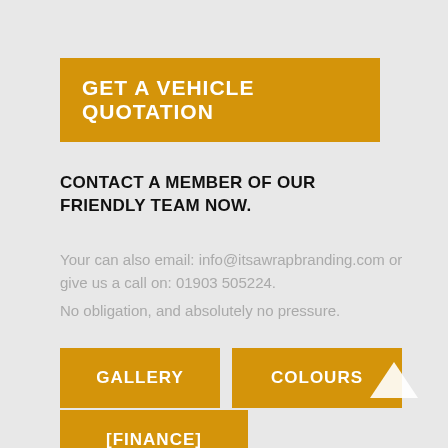GET A VEHICLE QUOTATION
CONTACT A MEMBER OF OUR FRIENDLY TEAM NOW.
Your can also email: info@itsawrapbranding.com or give us a call on: 01903 505224.
No obligation, and absolutely no pressure.
GALLERY
COLOURS
[FINANCE]